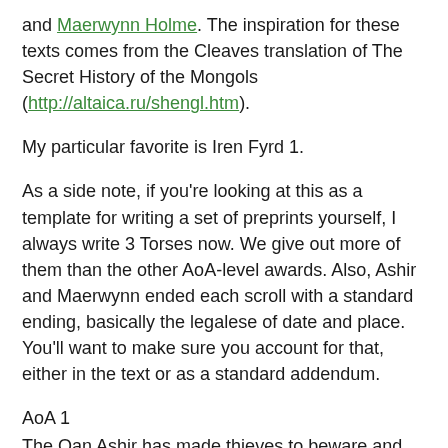and Maerwynn Holme. The inspiration for these texts comes from the Cleaves translation of The Secret History of the Mongols (http://altaica.ru/shengl.htm).
My particular favorite is Iren Fyrd 1.
As a side note, if you're looking at this as a template for writing a set of preprints yourself, I always write 3 Torses now. We give out more of them than the other AoA-level awards. Also, Ashir and Maerwynn ended each scroll with a standard ending, basically the legalese of date and place. You'll want to make sure you account for that, either in the text or as a standard addendum.
AoA 1
The Qan Ashir has made thieves to beware and made all lies to be in vain.
His Qatan Maerwynn has divided wealth and judged proper judgments.